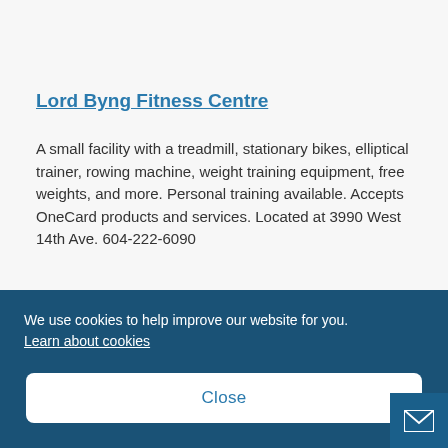[Figure (photo): Partial view of gym equipment including what appears to be exercise machines in a fitness centre]
Lord Byng Fitness Centre
A small facility with a treadmill, stationary bikes, elliptical trainer, rowing machine, weight training equipment, free weights, and more. Personal training available. Accepts OneCard products and services. Located at 3990 West 14th Ave. 604-222-6090
We use cookies to help improve our website for you. Learn about cookies
Close